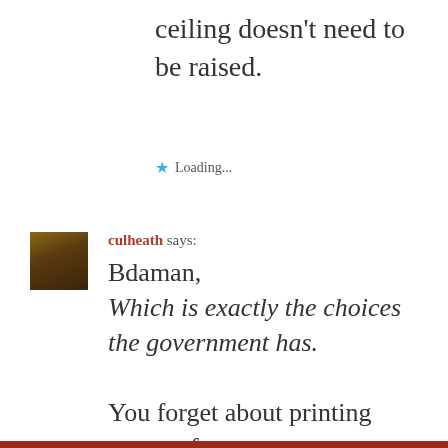ceiling doesn't need to be raised.
★ Loading...
[Figure (photo): Small avatar/profile photo of a user, showing a person wearing sunglasses, brown tones]
culheath says:
Bdaman,
Which is exactly the choices the government has.

You forget about printing money, for one.